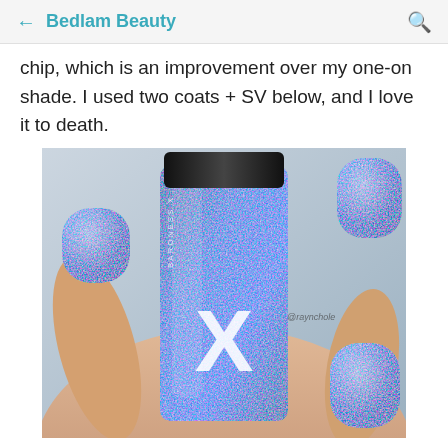Bedlam Beauty
chip, which is an improvement over my one-on shade. I used two coats + SV below, and I love it to death.
[Figure (photo): Close-up photo of a hand holding a blue glitter holographic nail polish bottle with a large X logo and black cap (appears to be Baroness X brand), with the nails painted in the same blue holographic polish. Watermark '@raynchole' visible.]